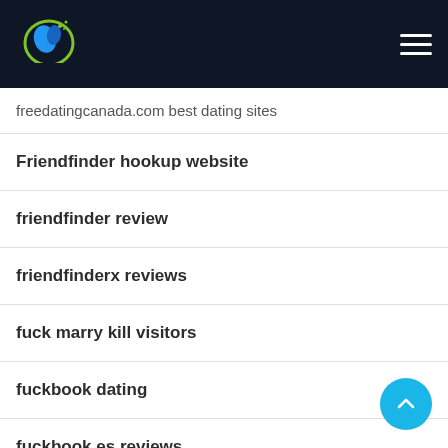[Figure (logo): Website logo with blue bird and green circular design on dark background]
freedatingcanada.com best dating sites
Friendfinder hookup website
friendfinder review
friendfinderx reviews
fuck marry kill visitors
fuckbook dating
fuckbook es reviews